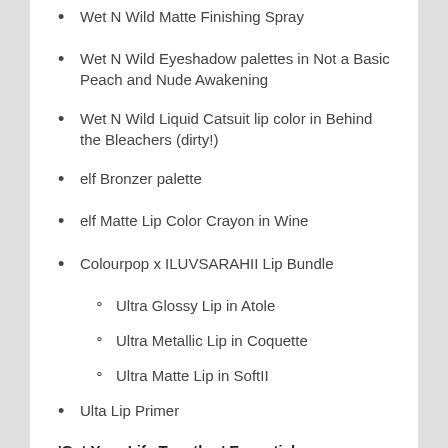Wet N Wild Matte Finishing Spray
Wet N Wild Eyeshadow palettes in Not a Basic Peach and Nude Awakening
Wet N Wild Liquid Catsuit lip color in Behind the Bleachers (dirty!)
elf Bronzer palette
elf Matte Lip Color Crayon in Wine
Colourpop x ILUVSARAHII Lip Bundle
Ultra Glossy Lip in Atole
Ultra Metallic Lip in Coquette
Ultra Matte Lip in SoftII
Ulta Lip Primer
'Get Your Life Together' Essentials